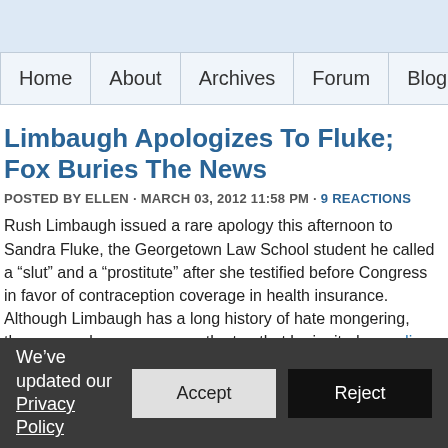Home | About | Archives | Forum | Blogroll
Limbaugh Apologizes To Fluke; Fox Buries The News
POSTED BY ELLEN · MARCH 03, 2012 11:58 PM · 9 REACTIONS
Rush Limbaugh issued a rare apology this afternoon to Sandra Fluke, the Georgetown Law School student he called a “slut” and a “prostitute” after she testified before Congress in favor of contraception coverage in health insurance. Although Limbaugh has a long history of hate mongering, these remarks were so over the top that he ignited a media firestorm, lost several advertisers and drew condemnation from both sides of the political aisle. I can assure you that if this were a liberal on the hot seat, this would be the top story 24/7 on Fox. But you’ll need your reading glasses to find the ne...
We’ve updated our Privacy Policy  Accept  Reject